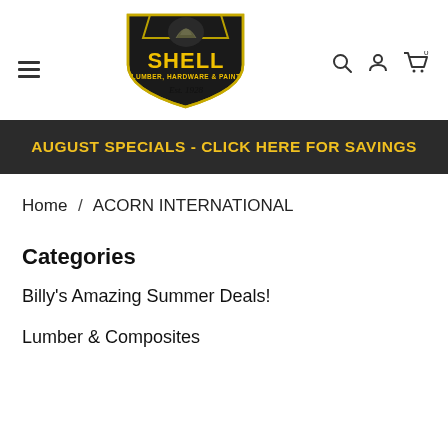[Figure (logo): Shell Lumber, Hardware & Paint logo - black shield shape with yellow text reading SHELL, subtitle LUMBER, HARDWARE & PAINT, and Est. 1928 in script below]
AUGUST SPECIALS - CLICK HERE FOR SAVINGS
Home / ACORN INTERNATIONAL
Categories
Billy's Amazing Summer Deals!
Lumber & Composites